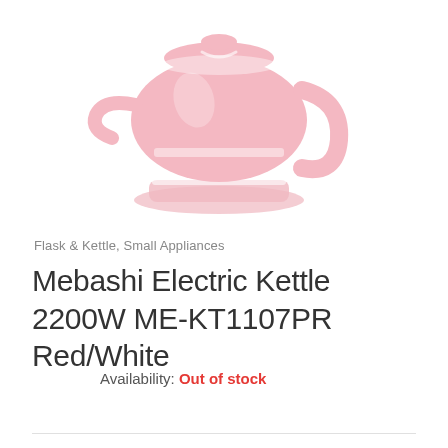[Figure (photo): Pink/white electric kettle product photo, partially cropped showing top portion of kettle against white background]
Flask & Kettle, Small Appliances
Mebashi Electric Kettle 2200W ME-KT1107PR Red/White
Availability: Out of stock